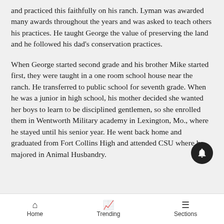and practiced this faithfully on his ranch. Lyman was awarded many awards throughout the years and was asked to teach others his practices. He taught George the value of preserving the land and he followed his dad's conservation practices.
When George started second grade and his brother Mike started first, they were taught in a one room school house near the ranch. He transferred to public school for seventh grade. When he was a junior in high school, his mother decided she wanted her boys to learn to be disciplined gentlemen, so she enrolled them in Wentworth Military academy in Lexington, Mo., where he stayed until his senior year. He went back home and graduated from Fort Collins High and attended CSU where he majored in Animal Husbandry.
Home  Trending  Sections